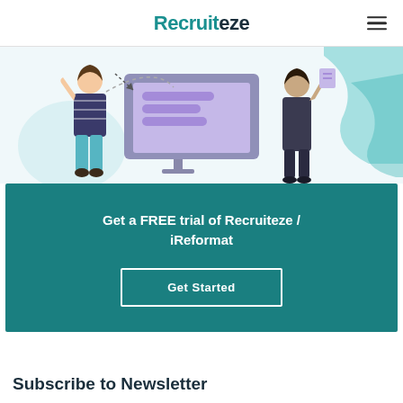Recruiteze
[Figure (illustration): Illustration of two people interacting with a large desktop monitor showing a purple chat/document screen, with teal decorative wave shapes in the background]
Get a FREE trial of Recruiteze / iReformat
Get Started
Subscribe to Newsletter